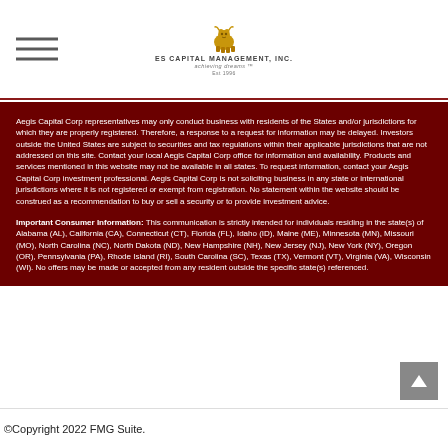ES Capital Management, Inc. — logo header with navigation hamburger
Aegis Capital Corp representatives may only conduct business with residents of the States and/or jurisdictions for which they are properly registered. Therefore, a response to a request for information may be delayed. Investors outside the United States are subject to securities and tax regulations within their applicable jurisdictions that are not addressed on this site. Contact your local Aegis Capital Corp office for information and availability. Products and services mentioned in this website may not be available in all states. To request information, contact your Aegis Capital Corp investment professional. Aegis Capital Corp is not soliciting business in any state or international jurisdictions where it is not registered or exempt from registration. No statement within the website should be construed as a recommendation to buy or sell a security or to provide investment advice.
Important Consumer Information: This communication is strictly intended for individuals residing in the state(s) of Alabama (AL), California (CA), Connecticut (CT), Florida (FL), Idaho (ID), Maine (ME), Minnesota (MN), Missouri (MO), North Carolina (NC), North Dakota (ND), New Hampshire (NH), New Jersey (NJ), New York (NY), Oregon (OR), Pennsylvania (PA), Rhode Island (RI), South Carolina (SC), Texas (TX), Vermont (VT), Virginia (VA), Wisconsin (WI). No offers may be made or accepted from any resident outside the specific state(s) referenced.
©Copyright 2022 FMG Suite.